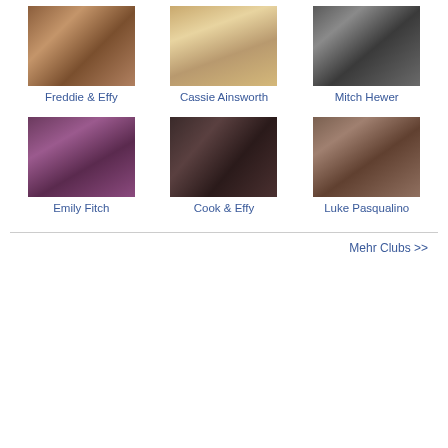[Figure (photo): Thumbnail photo for Freddie & Effy club]
Freddie & Effy
[Figure (photo): Thumbnail photo for Cassie Ainsworth club]
Cassie Ainsworth
[Figure (photo): Thumbnail photo for Mitch Hewer club]
Mitch Hewer
[Figure (photo): Thumbnail photo for Emily Fitch club]
Emily Fitch
[Figure (photo): Thumbnail photo for Cook & Effy club]
Cook & Effy
[Figure (photo): Thumbnail photo for Luke Pasqualino club]
Luke Pasqualino
Mehr Clubs >>